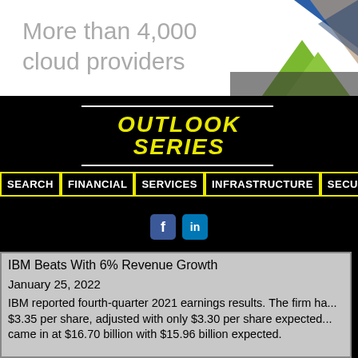[Figure (illustration): Advertisement banner with text 'More than 4,000 cloud providers' and geometric abstract shapes on the right side in blue, beige, and green with a city skyline photo.]
OUTLOOK SERIES
SEARCH | FINANCIAL | SERVICES | INFRASTRUCTURE | SECURITY | SCIENCE
[Figure (illustration): Facebook and LinkedIn social media icons side by side.]
IBM Beats With 6% Revenue Growth

January 25, 2022

IBM reported fourth-quarter 2021 earnings results. The firm ha... $3.35 per share, adjusted with only $3.30 per share expected... came in at $16.70 billion with $15.96 billion expected.

"We increased revenue in the fourth quarter with hybrid cloud growth in software and consulting," said Arvind Krishna, IBM...